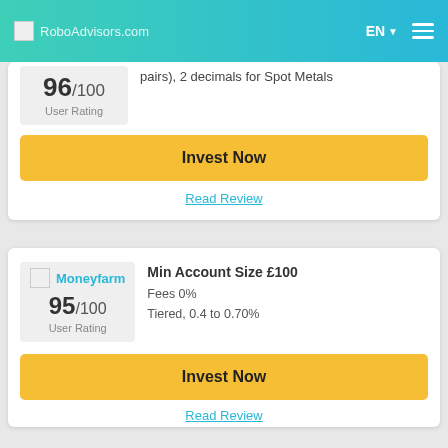RoboAdvisors.com  EN  ☰
96/100 User Rating
pairs), 2 decimals for Spot Metals
Invest Now
Read Review
Moneyfarm  95/100 User Rating
Min Account Size £100
Fees 0%
Tiered, 0.4 to 0.70%
Invest Now
Read Review